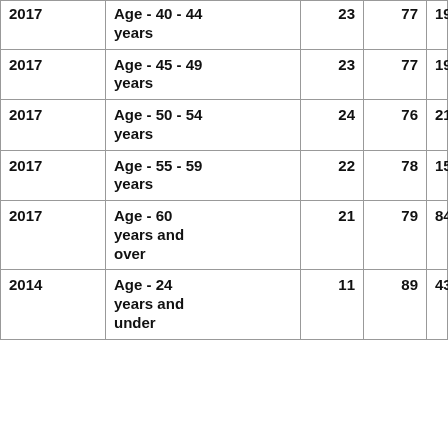| 2017 | Age - 40 - 44 years | 23 | 77 | 19412 |
| 2017 | Age - 45 - 49 years | 23 | 77 | 19580 |
| 2017 | Age - 50 - 54 years | 24 | 76 | 21504 |
| 2017 | Age - 55 - 59 years | 22 | 78 | 15786 |
| 2017 | Age - 60 years and over | 21 | 79 | 8449 |
| 2014 | Age - 24 years and under | 11 | 89 | 4317 |